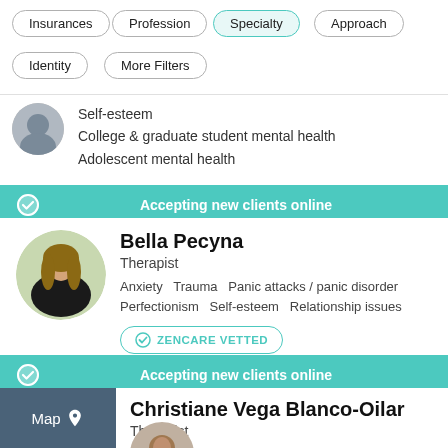Insurances
Profession
Specialty
Approach
Identity
More Filters
Self-esteem
College & graduate student mental health
Adolescent mental health
Accepting new clients online
Bella Pecyna
Therapist
Anxiety  Trauma  Panic attacks / panic disorder  Perfectionism  Self-esteem  Relationship issues
ZENCARE VETTED
Accepting new clients online
Christiane Vega Blanco-Oilar
Therapist